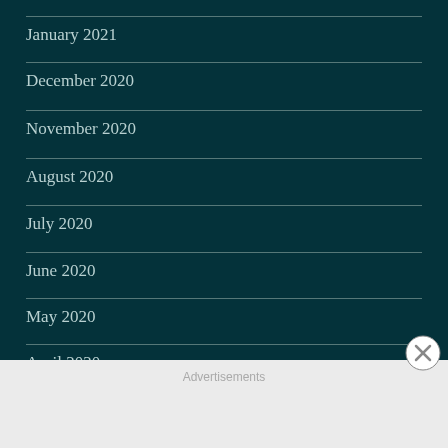January 2021
December 2020
November 2020
August 2020
July 2020
June 2020
May 2020
April 2020
March 2020
Advertisements